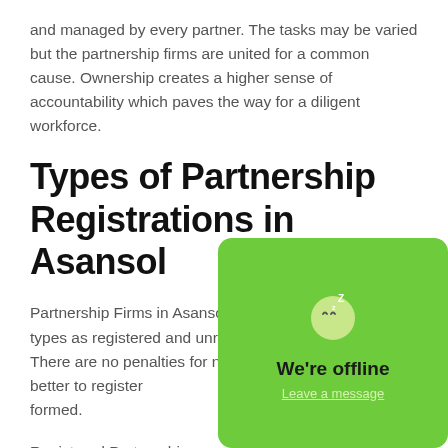and managed by every partner. The tasks may be varied but the partnership firms are united for a common cause. Ownership creates a higher sense of accountability which paves the way for a diligent workforce.
Types of Partnership Registrations in Asansol
Partnership Firms in Asansol can be classified into two types as registered and unregistered Partnership firms. There are no penalties for not regi... always better to register... before they are formed.
Registered Partnerships: regulated under the Indi... Registered Partnership fi... legal charges and also d...
[Figure (other): Chat widget showing 'We're offline' message with a sleeping face emoji on a bright green background, with a 'Leave a message' link.]